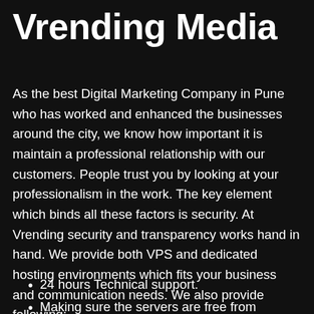Vrending Media
As the best Digital Marketing Company in Pune who has worked and enhanced the businesses around the city, we know how important it is maintain a professional relationship with our customers. People trust you by looking at your professionalism in the work. The key element which binds all these factors is security. At Vrending security and transparency works hand in hand. We provide both VPS and dedicated hosting environments which fits your business and communication needs. We also provide following:
24 hours Technical support.
Making sure the servers are free from Glitches.